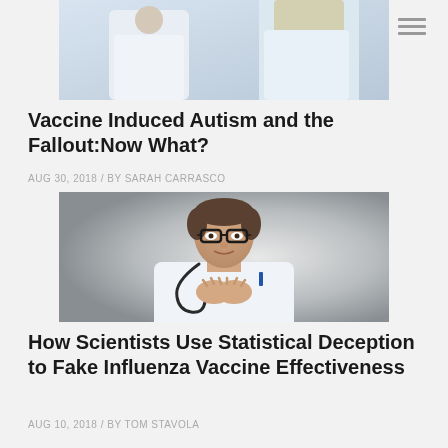[Figure (photo): Partial cropped photo of people in white coats, top of page]
Vaccine Induced Autism and the Fallout:Now What?
AUG 30, 2018 / BY SARAH CARRASCO
[Figure (photo): Photo of a male doctor in white coat wearing glasses and stethoscope, hands clasped together, looking sideways]
How Scientists Use Statistical Deception to Fake Influenza Vaccine Effectiveness
AUG 10, 2018 / BY TOM STAVOLA